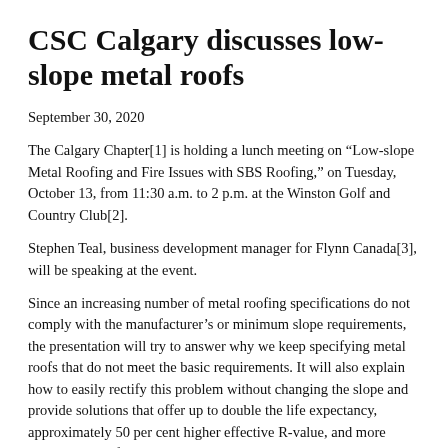CSC Calgary discusses low-slope metal roofs
September 30, 2020
The Calgary Chapter[1] is holding a lunch meeting on “Low-slope Metal Roofing and Fire Issues with SBS Roofing,” on Tuesday, October 13, from 11:30 a.m. to 2 p.m. at the Winston Golf and Country Club[2].
Stephen Teal, business development manager for Flynn Canada[3], will be speaking at the event.
Since an increasing number of metal roofing specifications do not comply with the manufacturer’s or minimum slope requirements, the presentation will try to answer why we keep specifying metal roofs that do not meet the basic requirements. It will also explain how to easily rectify this problem without changing the slope and provide solutions that offer up to double the life expectancy, approximately 50 per cent higher effective R-value, and more colour options for virtually the same cost.